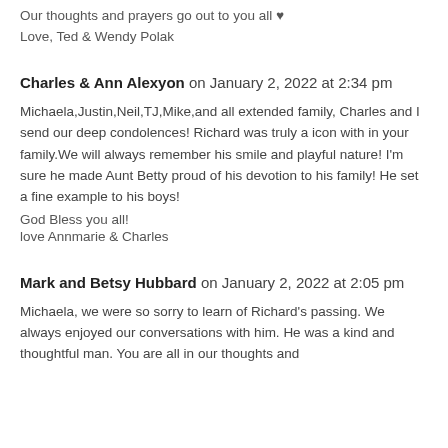Our thoughts and prayers go out to you all ♥
Love, Ted & Wendy Polak
Charles & Ann Alexyon on January 2, 2022 at 2:34 pm
Michaela,Justin,Neil,TJ,Mike,and all extended family, Charles and I send our deep condolences! Richard was truly a icon with in your family.We will always remember his smile and playful nature! I'm sure he made Aunt Betty proud of his devotion to his family! He set a fine example to his boys!
God Bless you all!
love Annmarie & Charles
Mark and Betsy Hubbard on January 2, 2022 at 2:05 pm
Michaela, we were so sorry to learn of Richard's passing. We always enjoyed our conversations with him. He was a kind and thoughtful man. You are all in our thoughts and